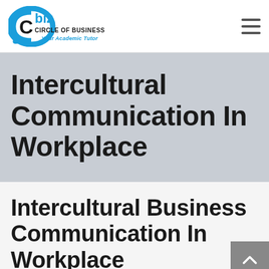Cbiz Circle of Business — Your Academic Tutor
Intercultural Communication In Workplace
Intercultural Business Communication In Workplace